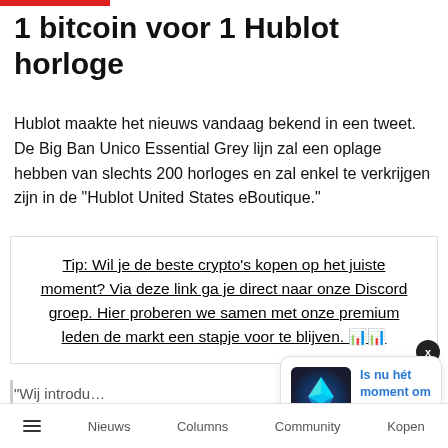1 bitcoin voor 1 Hublot horloge
Hublot maakte het nieuws vandaag bekend in een tweet. De Big Ban Unico Essential Grey lijn zal een oplage hebben van slechts 200 horloges en zal enkel te verkrijgen zijn in de “Hublot United States eBoutique.”
Tip: Wil je de beste crypto’s kopen op het juiste moment? Via deze link ga je direct naar onze Discord groep. Hier proberen we samen met onze premium leden de markt een stapje voor te blijven. 📊📊
“Wij introdu…
[Figure (screenshot): Notification popup showing Ethereum logo with text: Is nu hét moment om ethereum te kopen? 4 hours ago]
Nieuws   Columns   Community   Kopen